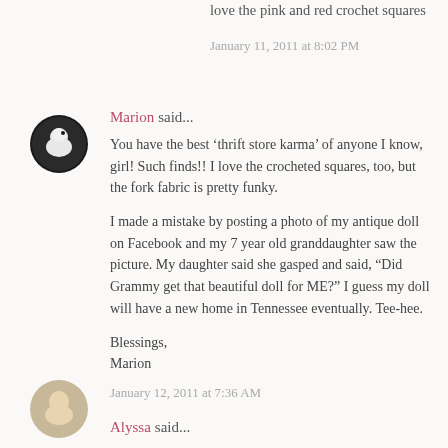love the pink and red crochet squares
January 11, 2011 at 8:02 PM
[Figure (photo): Small circular avatar photo of Marion, showing a white bird/dove on dark background]
Marion said...
You have the best ‘thrift store karma’ of anyone I know, girl! Such finds!! I love the crocheted squares, too, but the fork fabric is pretty funky.

I made a mistake by posting a photo of my antique doll on Facebook and my 7 year old granddaughter saw the picture. My daughter said she gasped and said, “Did Grammy get that beautiful doll for ME?” I guess my doll will have a new home in Tennessee eventually. Tee-hee.

Blessings,
Marion
January 12, 2011 at 7:36 AM
[Figure (photo): Small circular avatar photo of Alyssa, partially visible at bottom]
Alyssa said...